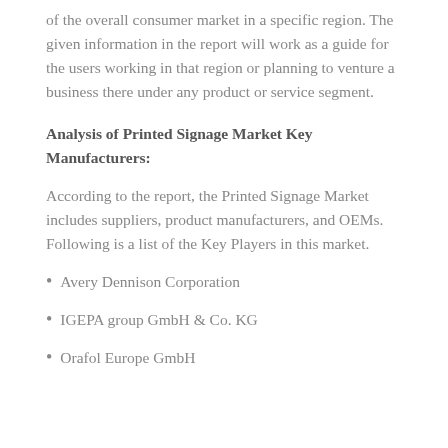of the overall consumer market in a specific region. The given information in the report will work as a guide for the users working in that region or planning to venture a business there under any product or service segment.
Analysis of Printed Signage Market Key Manufacturers:
According to the report, the Printed Signage Market includes suppliers, product manufacturers, and OEMs. Following is a list of the Key Players in this market.
Avery Dennison Corporation
IGEPA group GmbH & Co. KG
Orafol Europe GmbH